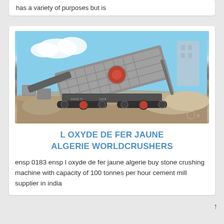has a variety of purposes but is
[Figure (photo): A large mobile stone crushing machine (jaw crusher/screener) on tracks at a construction or quarry site. The machine is grey/silver with conveyor belts and a large screening unit. Blue sky with clouds in background, stone rubble in foreground.]
L OXYDE DE FER JAUNE ALGERIE WORLDCRUSHERS
ensp 0183 ensp l oxyde de fer jaune algerie buy stone crushing machine with capacity of 100 tonnes per hour cement mill supplier in india